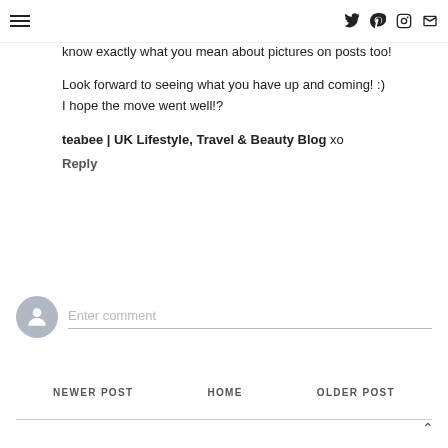Navigation menu and social icons (Twitter, Pinterest, Instagram, Email)
know exactly what you mean about pictures on posts too!

Look forward to seeing what you have up and coming! :)
I hope the move went well!?
teabee | UK Lifestyle, Travel & Beauty Blog xo
Reply
Enter comment
NEWER POST   HOME   OLDER POST